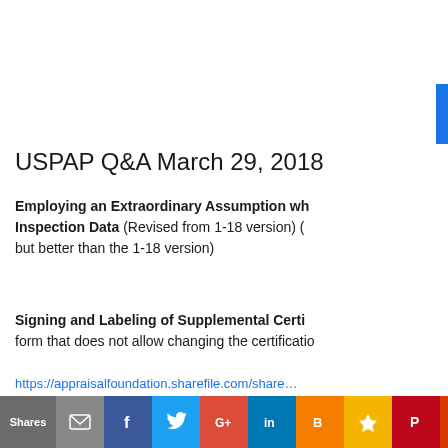USPAP Q&A March 29, 2018
Employing an Extraordinary Assumption when Using Inspection Data (Revised from 1-18 version) (still not perfect but better than the 1-18 version)
Signing and Labeling of Supplemental Certifications form that does not allow changing the certification
https://appraisalfoundation.sharefile.com/share...
Appraising Lakes Beyond
Shares | email | facebook | twitter | google+ | linkedin | blogger | bookmark | pinterest | outlook | gmail | reddit